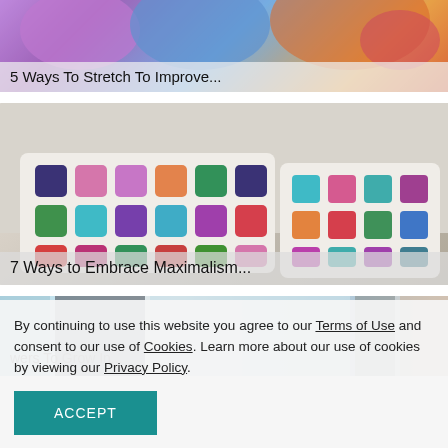[Figure (photo): Colorful photo of people stretching/exercising, with purple, blue, orange tones]
5 Ways To Stretch To Improve...
[Figure (photo): Photo of colorful crochet granny square pillows against a white brick wall]
7 Ways to Embrace Maximalism...
[Figure (photo): Photo partially visible, light blue, grey tones, window/plant scene]
By continuing to use this website you agree to our Terms of Use and consent to our use of Cookies. Learn more about our use of cookies by viewing our Privacy Policy.
ACCEPT
wers To Grow In...